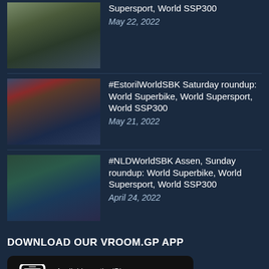Supersport, World SSP300
May 22, 2022
#EstorilWorldSBK Saturday roundup: World Superbike, World Supersport, World SSP300
May 21, 2022
#NLDWorldSBK Assen, Sunday roundup: World Superbike, World Supersport, World SSP300
April 24, 2022
DOWNLOAD OUR VROOM.GP APP
[Figure (other): App Store download button with phone icon, text 'Available on the iPhone App Store']